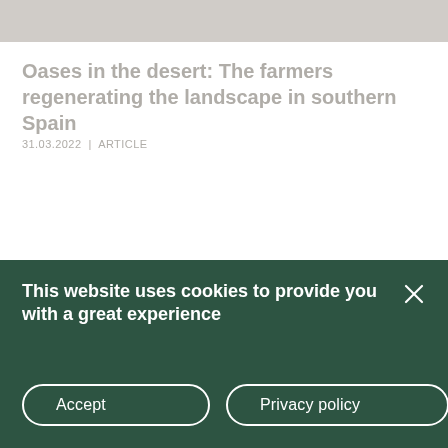[Figure (photo): Partial hero image of landscape, faded/light colored, at top of page]
Oases in the desert: The farmers regenerating the landscape in southern Spain
31.03.2022  |  ARTICLE
[Figure (illustration): Dark green curved/wave shape forming background for cookie banner]
This website uses cookies to provide you with a great experience
Accept
Privacy policy